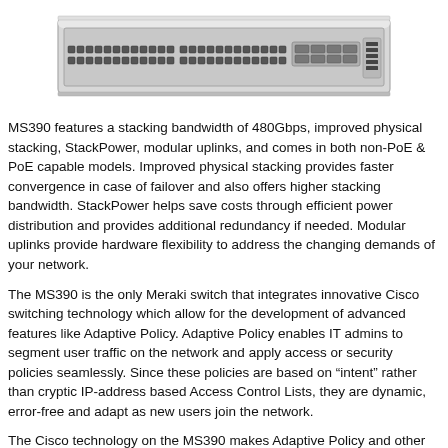[Figure (photo): Front view of a Cisco Meraki MS390 network switch, showing ports, LEDs, and rack-mount chassis in light gray finish.]
MS390 features a stacking bandwidth of 480Gbps, improved physical stacking, StackPower, modular uplinks, and comes in both non-PoE & PoE capable models. Improved physical stacking provides faster convergence in case of failover and also offers higher stacking bandwidth. StackPower helps save costs through efficient power distribution and provides additional redundancy if needed. Modular uplinks provide hardware flexibility to address the changing demands of your network.
The MS390 is the only Meraki switch that integrates innovative Cisco switching technology which allow for the development of advanced features like Adaptive Policy. Adaptive Policy enables IT admins to segment user traffic on the network and apply access or security policies seamlessly. Since these policies are based on “intent” rather than cryptic IP-address based Access Control Lists, they are dynamic, error-free and adapt as new users join the network.
The Cisco technology on the MS390 makes Adaptive Policy and other advanced features possible, which makes the switch ideal for critical deployments across any organization with a need for advanced performance and easier user traffic management through segmentation.
To learn more about the MS390, take a look at the datasheet or sign-up for our